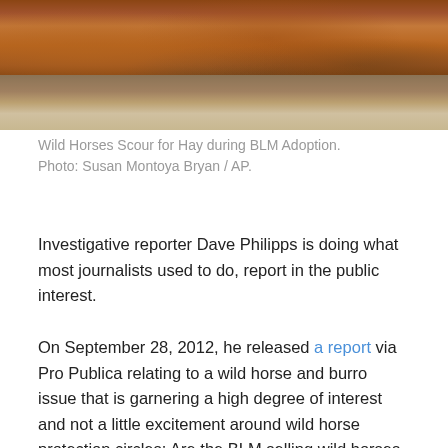[Figure (photo): Close-up photo of horses' legs and hooves standing on hay/dirt ground during a BLM Adoption event]
Wild Horses Scour for Hay during BLM Adoption. Photo: Susan Montoya Bryan / AP.
Investigative reporter Dave Philipps is doing what most journalists used to do, report in the public interest.
On September 28, 2012, he released a report via Pro Publica relating to a wild horse and burro issue that is garnering a high degree of interest and not a little excitement around wild horse protection circles: Are the BLM selling wild horses to slaughter?
From everything we have heard since the Int' Fund for Horses began operations in 2003, I believe the answer to